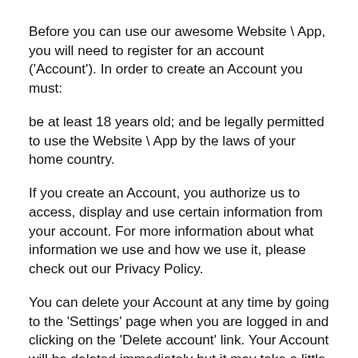Before you can use our awesome Website \ App, you will need to register for an account ('Account'). In order to create an Account you must:
be at least 18 years old; and be legally permitted to use the Website \ App by the laws of your home country.
If you create an Account, you authorize us to access, display and use certain information from your account. For more information about what information we use and how we use it, please check out our Privacy Policy.
You can delete your Account at any time by going to the 'Settings' page when you are logged in and clicking on the 'Delete account' link. Your Account will be deleted immediately but it may take a little while for Your Content to be completely removed from the Website \ App. We will save your profile information in case you realize you decide to restore your Account (which you can do within 30 days of de-activating your Account). Encourage X reserves the right at our sole discretion to terminate or suspend any Account, or make use of any operational, technological, legal or other